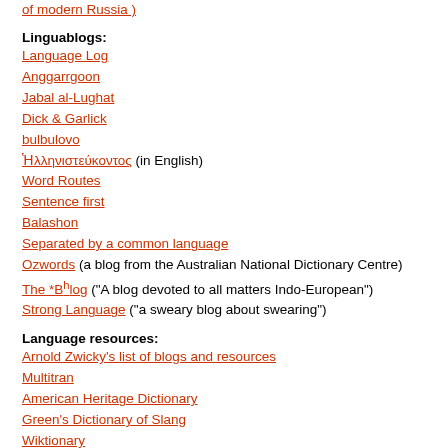of modern Russia )
Linguablogs:
Language Log
Anggarrgoon
Jabal al-Lughat
Dick & Garlick
bulbulovo
Ἡλληνιστεύκοντος (in English)
Word Routes
Sentence first
Balashon
Separated by a common language
Ozwords (a blog from the Australian National Dictionary Centre)
The *Bhlog ("A blog devoted to all matters Indo-European")
Strong Language ("a sweary blog about swearing")
Language resources:
Arnold Zwicky's list of blogs and resources
Multitran
American Heritage Dictionary
Green's Dictionary of Slang
Wiktionary